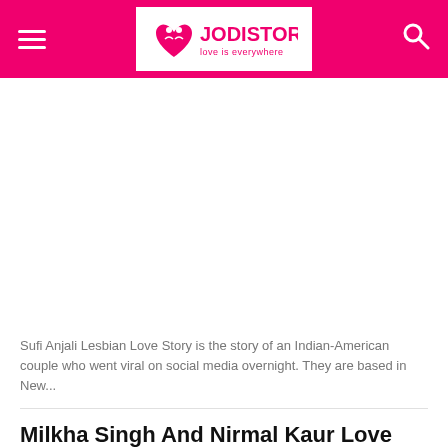JODISTORY love is everywhere
[Figure (other): White advertisement/blank area below the header navigation bar]
Sufi Anjali Lesbian Love Story is the story of an Indian-American couple who went viral on social media overnight. They are based in New...
Milkha Singh And Nirmal Kaur Love Story Is Eternal